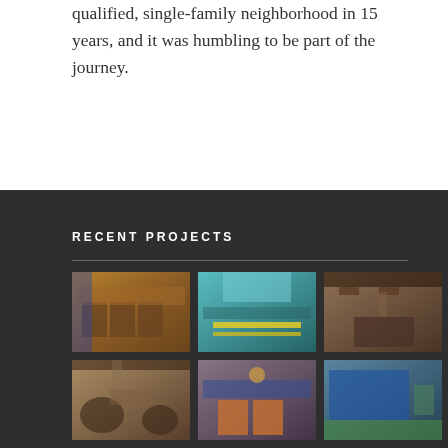qualified, single-family neighborhood in 15 years, and it was humbling to be part of the journey.
RECENT PROJECTS
[Figure (photo): Grid of 6 interior design project photos showing dining rooms, bowling alley, living rooms, and lounge spaces]
[Figure (photo): Interior dining room with colorful bar and chairs]
[Figure (photo): Bowling alley with teal accents and lane lighting]
[Figure (photo): Living room with fireplace and wooden beam ceiling]
[Figure (photo): Great room with arched windows and comfortable seating]
[Figure (photo): Lounge area with orange chairs and blue artwork]
[Figure (photo): Modern clubroom with blue wall art and green carpet]